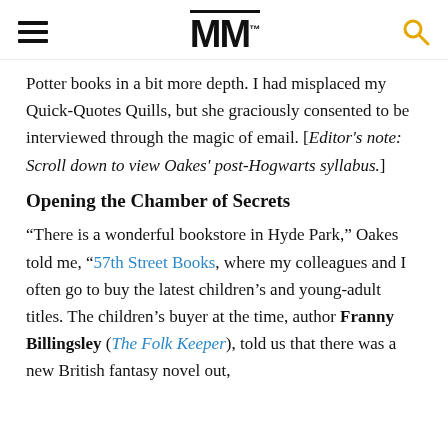MM
Potter books in a bit more depth. I had misplaced my Quick-Quotes Quills, but she graciously consented to be interviewed through the magic of email. [Editor's note: Scroll down to view Oakes' post-Hogwarts syllabus.]
Opening the Chamber of Secrets
“There is a wonderful bookstore in Hyde Park,” Oakes told me, “57th Street Books, where my colleagues and I often go to buy the latest children’s and young-adult titles. The children’s buyer at the time, author Franny Billingsley (The Folk Keeper), told us that there was a new British fantasy novel out,